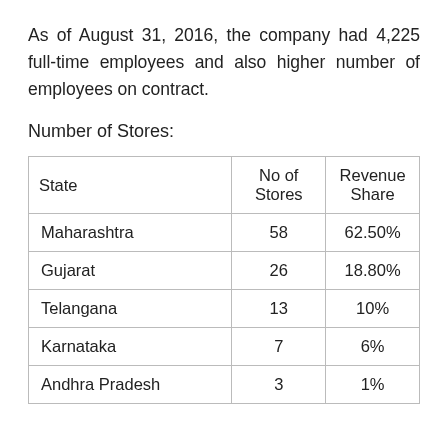As of August 31, 2016, the company had 4,225 full-time employees and also higher number of employees on contract.
Number of Stores:
| State | No of Stores | Revenue Share |
| --- | --- | --- |
| Maharashtra | 58 | 62.50% |
| Gujarat | 26 | 18.80% |
| Telangana | 13 | 10% |
| Karnataka | 7 | 6% |
| Andhra Pradesh | 3 | 1% |